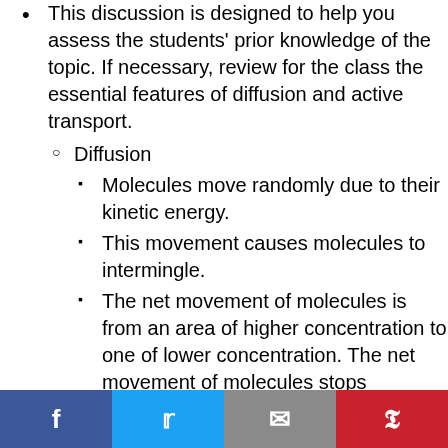This discussion is designed to help you assess the students' prior knowledge of the topic. If necessary, review for the class the essential features of diffusion and active transport.
Diffusion
Molecules move randomly due to their kinetic energy.
This movement causes molecules to intermingle.
The net movement of molecules is from an area of higher concentration to one of lower concentration. The net movement of molecules stops when the concentration of the…